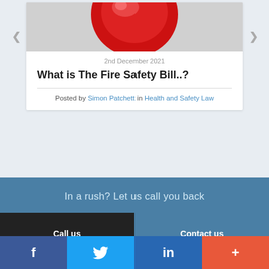[Figure (photo): Red fire alarm bell on white/grey background, top portion visible]
2nd December 2021
What is The Fire Safety Bill..?
Posted by Simon Patchett in Health and Safety Law
In a rush? Let us call you back
Call us
Contact us
f
in
+